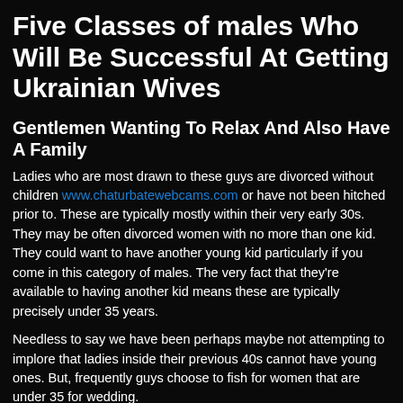Five Classes of males Who Will Be Successful At Getting Ukrainian Wives
Gentlemen Wanting To Relax And Also Have A Family
Ladies who are most drawn to these guys are divorced without children www.chaturbatewebcams.com or have not been hitched prior to. These are typically mostly within their very early 30s. They may be often divorced women with no more than one kid. They could want to have another young kid particularly if you come in this category of males. The very fact that they're available to having another kid means these are typically precisely under 35 years.
Needless to say we have been perhaps maybe not attempting to implore that ladies inside their previous 40s cannot have young ones. But, frequently guys choose to fish for women that are under 35 for wedding.